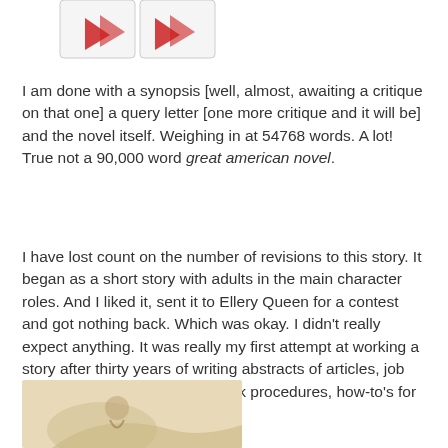[Figure (illustration): Partial view of red playing cards or heart-shaped cards at top of page]
I am done with a synopsis [well, almost, awaiting a critique on that one] a query letter [one more critique and it will be] and the novel itself. Weighing in at 54768 words. A lot! True not a 90,000 word great american novel.
I have lost count on the number of revisions to this story. It began as a short story with adults in the main character roles. And I liked it, sent it to Ellery Queen for a contest and got nothing back. Which was okay. I didn't really expect anything. It was really my first attempt at working a story after thirty years of writing abstracts of articles, job descriptions, policy papers, work procedures, how-to's for managers
[Figure (illustration): Partial image at bottom of page, appears to be a vintage or decorative illustration]